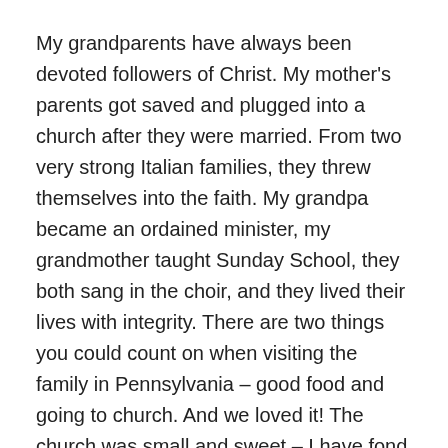My grandparents have always been devoted followers of Christ. My mother's parents got saved and plugged into a church after they were married. From two very strong Italian families, they threw themselves into the faith. My grandpa became an ordained minister, my grandmother taught Sunday School, they both sang in the choir, and they lived their lives with integrity. There are two things you could count on when visiting the family in Pennsylvania – good food and going to church. And we loved it! The church was small and sweet – I have fond memories of Easter egg hunts, getting to church early and helping to fold the bulletins, and using flannel-graph during Sunday School.
I think that, as children, you always think certain people will most definitely be at your wedding. It's sad to know